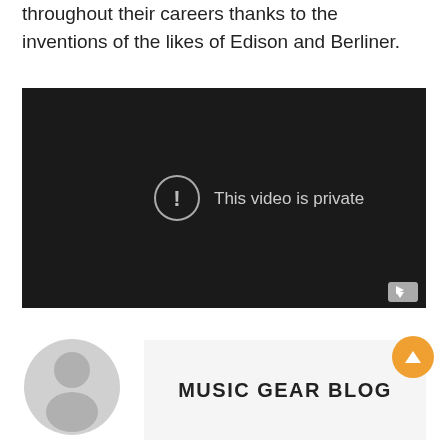throughout their careers thanks to the inventions of the likes of Edison and Berliner.
[Figure (screenshot): Embedded video player with black background showing 'This video is private' message with a circle exclamation icon and a YouTube play button in the bottom right corner.]
[Figure (illustration): Generic grey user avatar (silhouette of a person) on the left side of the footer section.]
MUSIC GEAR BLOG